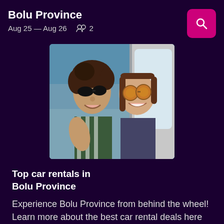Bolu Province
Aug 25 — Aug 26   👥 2
[Figure (photo): Two smiling women with sunglasses leaning out of a car window]
Top car rentals in Bolu Province
Experience Bolu Province from behind the wheel! Learn more about the best car rental deals here
Find cars in Bolu Province